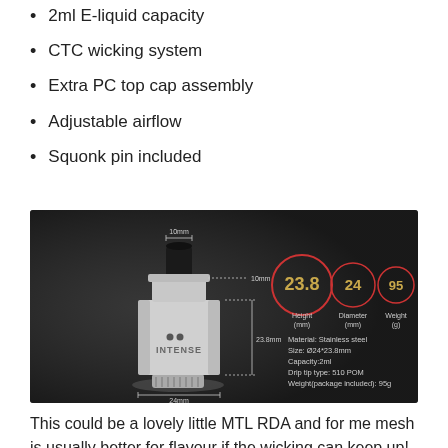2ml E-liquid capacity
CTC wicking system
Extra PC top cap assembly
Adjustable airflow
Squonk pin included
[Figure (photo): Product image of the Intense RDA showing dimensions: Height 23.8mm, Diameter 24mm, Weight 95g. Material: Stainless steel, Size: Ø24*23.8mm, Capacity: 2ml, Drip tip type: 510 POM, Weight (package included): 95g]
This could be a lovely little MTL RDA and for me mesh is usually better for flavour if the wicking can keep up!